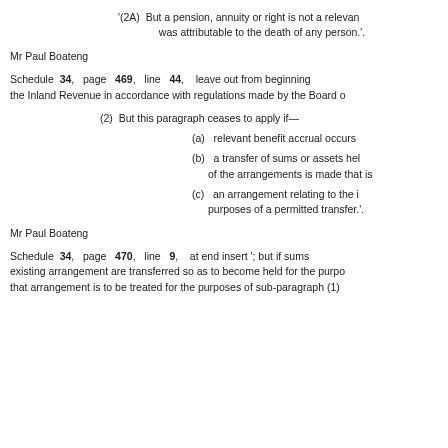'(2A)  But a pension, annuity or right is not a relevant pension, annuity or right if the right was attributable to the death of any person.'.
Mr Paul Boateng
Schedule 34, page 469, line 44, leave out from beginning the Inland Revenue in accordance with regulations made by the Board of
(2)  But this paragraph ceases to apply if—
(a)  relevant benefit accrual occurs
(b)  a transfer of sums or assets held for the purposes of the arrangements is made that is
(c)  an arrangement relating to the individual is made for the purposes of a permitted transfer.'.
Mr Paul Boateng
Schedule 34, page 470, line 9, at end insert '; but if sums or assets held for the purposes of an existing arrangement are transferred so as to become held for the purposes of a new arrangement, that arrangement is to be treated for the purposes of sub-paragraph (1)